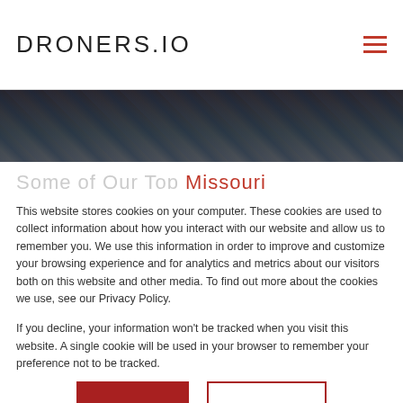DRONERS.IO
[Figure (photo): Aerial drone photo of landscape, dark overhead view]
Some of Our Top Missouri
This website stores cookies on your computer. These cookies are used to collect information about how you interact with our website and allow us to remember you. We use this information in order to improve and customize your browsing experience and for analytics and metrics about our visitors both on this website and other media. To find out more about the cookies we use, see our Privacy Policy.

If you decline, your information won't be tracked when you visit this website. A single cookie will be used in your browser to remember your preference not to be tracked.
Accept
Decline